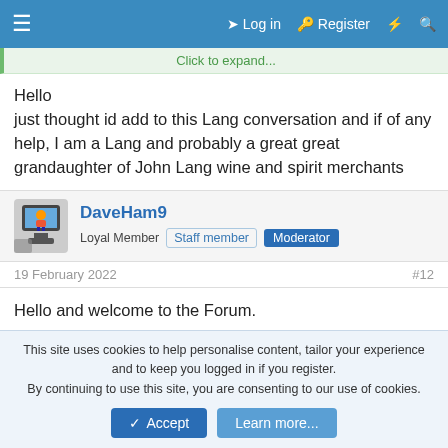Log in  Register
Click to expand...
Hello
just thought id add to this Lang conversation and if of any help, I am a Lang and probably a great great grandaughter of John Lang wine and spirit merchants
DaveHam9
Loyal Member  Staff member  Moderator
19 February 2022  #12
Hello and welcome to the Forum.

My great grandfather.
This site uses cookies to help personalise content, tailor your experience and to keep you logged in if you register.
By continuing to use this site, you are consenting to our use of cookies.